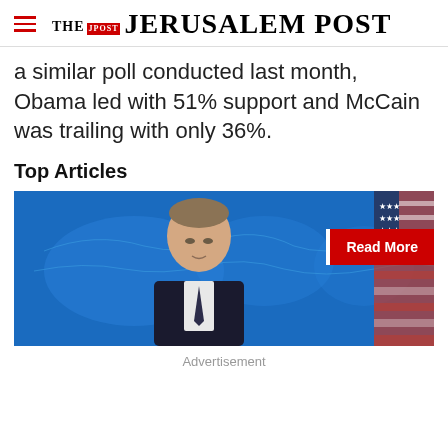THE JERUSALEM POST
a similar poll conducted last month, Obama led with 51% support and McCain was trailing with only 36%.
Top Articles
[Figure (photo): A man in a suit speaking at a podium with a blue world map background and American flag, with a 'Read More' button overlay]
Advertisement